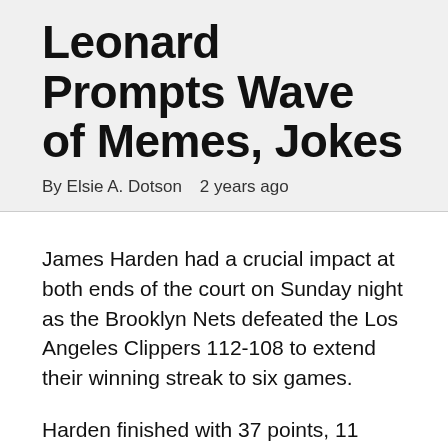Leonard Prompts Wave of Memes, Jokes
By Elsie A. Dotson   2 years ago
James Harden had a crucial impact at both ends of the court on Sunday night as the Brooklyn Nets defeated the Los Angeles Clippers 112-108 to extend their winning streak to six games.
Harden finished with 37 points, 11 rebounds and seven assists as the Nets won a fifth consecutive game on the road, despite missing Kevin Durant again.